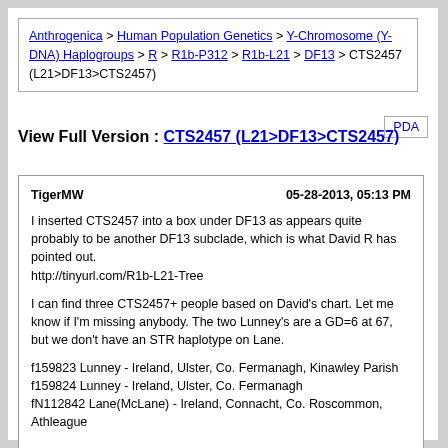Anthrogenica > Human Population Genetics > Y-Chromosome (Y-DNA) Haplogroups > R > R1b-P312 > R1b-L21 > DF13 > CTS2457 (L21>DF13>CTS2457)
View Full Version : CTS2457 (L21>DF13>CTS2457)
TigerMW    05-28-2013, 05:13 PM

I inserted CTS2457 into a box under DF13 as appears quite probably to be another DF13 subclade, which is what David R has pointed out.
http://tinyurl.com/R1b-L21-Tree

I can find three CTS2457+ people based on David's chart. Let me know if I'm missing anybody. The two Lunney's are a GD=6 at 67, but we don't have an STR haplotype on Lane.

f159823 Lunney - Ireland, Ulster, Co. Fermanagh, Kinawley Parish
f159824 Lunney - Ireland, Ulster, Co. Fermanagh
fN112842 Lane(McLane) - Ireland, Connacht, Co. Roscommon, Athleague

Here are the suspects in the variety z6171314:

f108630 Collins DF13+ L513- L96- L144- z6171314 Ireland, Ulster

f96153 McDonnell DF13+ L513- DF21- DF49- Z255- DF41- L96- L144- L195- L130- L69-
3c1g z6171314 Ireland, Leinster, Co. Dublin

fN78670 Cunningham L21+ z6171314 Ireland, Ulster

CTTS2457 could be considered for broader exploratory testing within DF13* folks,
but I think the above suspects are critical people to test, especially Collins